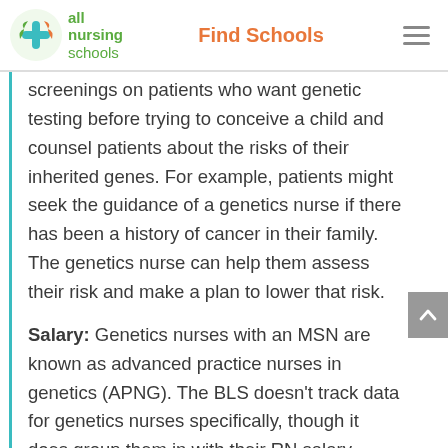all nursing schools | Find Schools
screenings on patients who want genetic testing before trying to conceive a child and counsel patients about the risks of their inherited genes. For example, patients might seek the guidance of a genetics nurse if there has been a history of cancer in their family. The genetics nurse can help them assess their risk and make a plan to lower that risk.
Salary: Genetics nurses with an MSN are known as advanced practice nurses in genetics (APNG). The BLS doesn't track data for genetics nurses specifically, though it does group them in with their RN salary